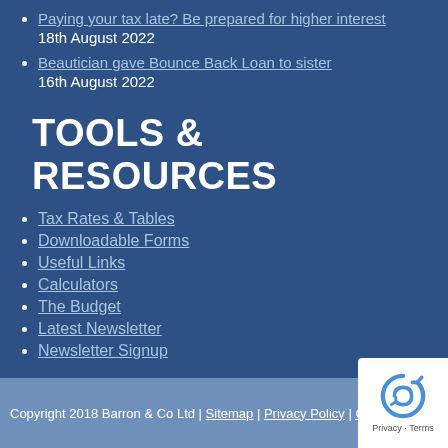Paying your tax late? Be prepared for higher interest
18th August 2022
Beautician gave Bounce Back Loan to sister
16th August 2022
TOOLS & RESOURCES
Tax Rates & Tables
Downloadable Forms
Useful Links
Calculators
The Budget
Latest Newsletter
Newsletter Signup
Copyright 2018 Barron & Co Ltd | Sitemap | Privacy Policy | Cookie